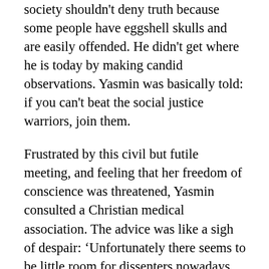society shouldn't deny truth because some people have eggshell skulls and are easily offended. He didn't get where he is today by making candid observations. Yasmin was basically told: if you can't beat the social justice warriors, join them.
Frustrated by this civil but futile meeting, and feeling that her freedom of conscience was threatened, Yasmin consulted a Christian medical association. The advice was like a sigh of despair: ‘Unfortunately there seems to be little room for dissenters nowadays, and the way people react is often to shout down others who haven’t got with the programme. This is of course unacceptable and an irony when you are being criticised for intolerance.’ Yasmin’s pledge to approach each patient with compassion and respect is consistent with GMC guidance, and also with Biblical teaching. But